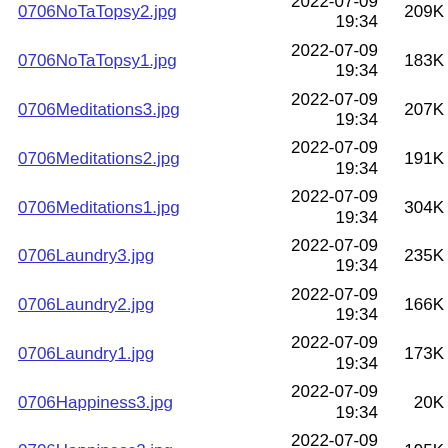0706NoTaTopsy1.jpg  2022-07-09 19:34  183K
0706Meditations3.jpg  2022-07-09 19:34  207K
0706Meditations2.jpg  2022-07-09 19:34  191K
0706Meditations1.jpg  2022-07-09 19:34  304K
0706Laundry3.jpg  2022-07-09 19:34  235K
0706Laundry2.jpg  2022-07-09 19:34  166K
0706Laundry1.jpg  2022-07-09 19:34  173K
0706Happiness3.jpg  2022-07-09 19:34  20K
0706Happiness2.jpg  2022-07-09 19:34  195K
0706Happiness1.jpg  2022-07-09 19:34  22K
0705KennethCole9.jpg  2022-02-18  144K